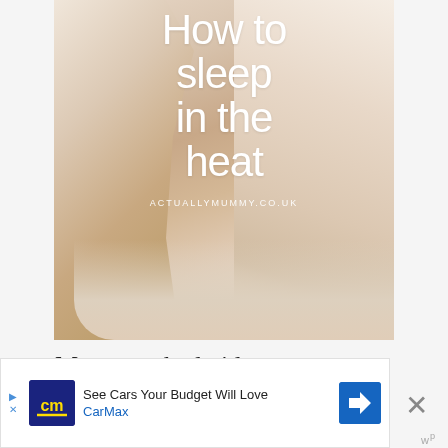[Figure (photo): A photo of white bed sheets/duvet with a person's legs visible, used as background for article title overlay. Text overlay reads 'How to sleep in the heat' with 'ACTUALLYMUMMY.CO.UK' at the bottom.]
Most watched videos
[Figure (other): Advertisement banner: CarMax ad reading 'See Cars Your Budget Will Love' with CarMax logo (blue and yellow), navigation/directions icon, and close button.]